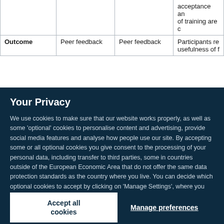|  |  |  |  |
| --- | --- | --- | --- |
|  |  |  | acceptance and of training are c |
| Outcome | Peer feedback | Peer feedback | Participants re usefulness of f |
Your Privacy
We use cookies to make sure that our website works properly, as well as some 'optional' cookies to personalise content and advertising, provide social media features and analyse how people use our site. By accepting some or all optional cookies you give consent to the processing of your personal data, including transfer to third parties, some in countries outside of the European Economic Area that do not offer the same data protection standards as the country where you live. You can decide which optional cookies to accept by clicking on 'Manage Settings', where you can also find more information about how your personal data is processed. Further information can be found in our privacy policy.
Accept all cookies
Manage preferences